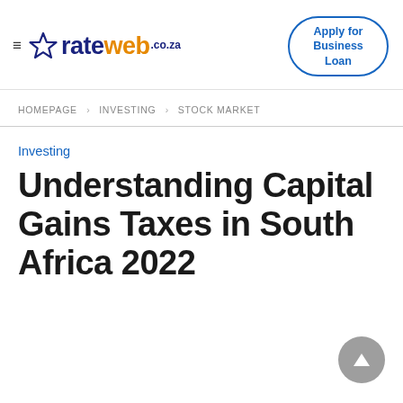rateweb.co.za — Apply for Business Loan
HOMEPAGE › INVESTING › STOCK MARKET
Investing
Understanding Capital Gains Taxes in South Africa 2022